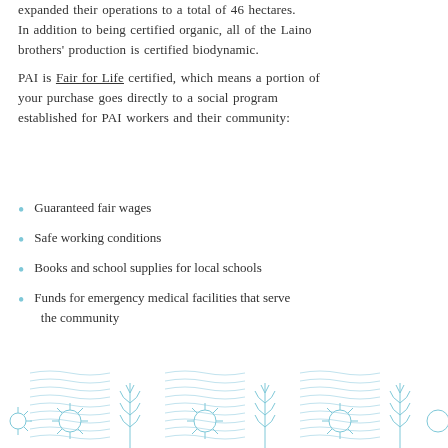expanded their operations to a total of 46 hectares. In addition to being certified organic, all of the Laino brothers' production is certified biodynamic.
PAI is Fair for Life certified, which means a portion of your purchase goes directly to a social program established for PAI workers and their community:
Guaranteed fair wages
Safe working conditions
Books and school supplies for local schools
Funds for emergency medical facilities that serve the community
[Figure (illustration): Decorative blue line illustration of sunflowers and wheat stalks with wavy lines, repeated pattern across the bottom of the page.]